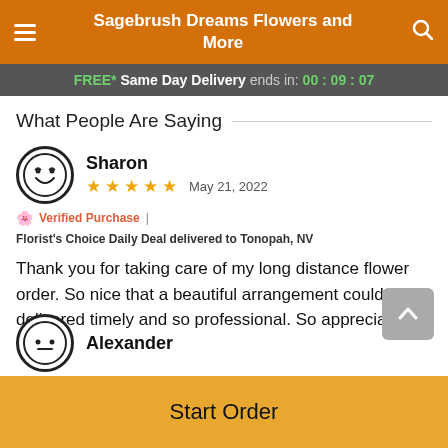Sagebrush Dreams Flowers and More
FREE* Same Day Delivery ends in: 00:09:07
What People Are Saying
Sharon
★★★★★  May 21, 2022
🌸 Verified Purchase | Florist's Choice Daily Deal delivered to Tonopah, NV
Thank you for taking care of my long distance flower order. So nice that a beautiful arrangement could be delivered timely and so professional. So appreciate!
Alexander
Start Order